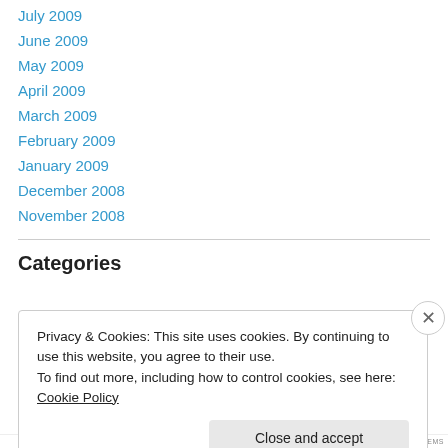July 2009
June 2009
May 2009
April 2009
March 2009
February 2009
January 2009
December 2008
November 2008
Categories
Privacy & Cookies: This site uses cookies. By continuing to use this website, you agree to their use.
To find out more, including how to control cookies, see here: Cookie Policy
Close and accept